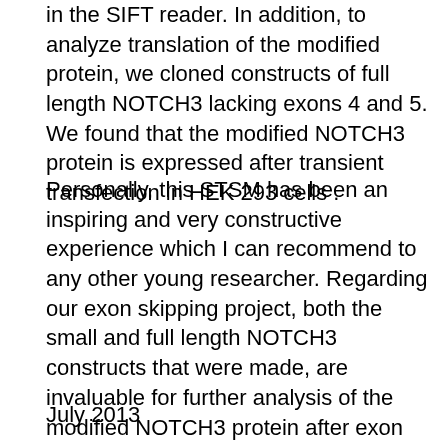in the SIFT reader. In addition, to analyze translation of the modified protein, we cloned constructs of full length NOTCH3 lacking exons 4 and 5. We found that the modified NOTCH3 protein is expressed after transient transfection in HEK 293 cells .
Personally, this STSM has been an inspiring and very constructive experience which I can recommend to any other young researcher. Regarding our exon skipping project, both the small and full length NOTCH3 constructs that were made, are invaluable for further analysis of the modified NOTCH3 protein after exon skipping. Finally, a fruitful and continuing collaboration with ISD has been set up, also thanks to the STSM project.
July 2013